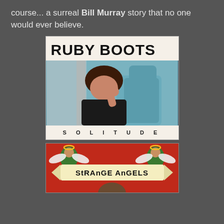course... a surreal Bill Murray story that no one would ever believe.
[Figure (illustration): Ruby Boots 'Solitude' album cover: white/cream background, large bold black 'RUBY BOOTS' text at top, photo of a woman with dark hair sitting in a car interior (teal/blue seats), text 'S O L I T U D E' at bottom in spaced capitals.]
[Figure (illustration): Strange Angels album cover: red background with illustrated angels on left and right sides, banner ribbon reading 'STRANGE ANGELS' in hand-drawn style, partial view of a person's head at bottom.]